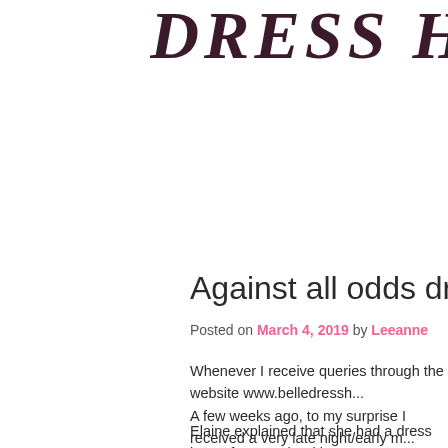DRESS HIRE
Against all odds dress in 60 m
Posted on March 4, 2019 by Leeanne
Whenever I receive queries through the website www.belledressh... A few weeks ago, to my surprise I received a very late night/early m... needed a dress for an event that was taking place in less than 24 h...
Elaine explained that she had a dress but unfortunately with unexp...